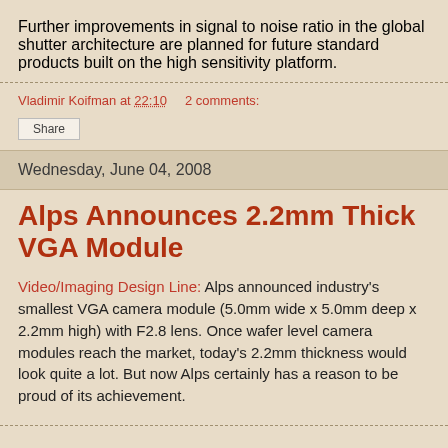Further improvements in signal to noise ratio in the global shutter architecture are planned for future standard products built on the high sensitivity platform.
Vladimir Koifman at 22:10    2 comments:
Share
Wednesday, June 04, 2008
Alps Announces 2.2mm Thick VGA Module
Video/Imaging Design Line: Alps announced industry's smallest VGA camera module (5.0mm wide x 5.0mm deep x 2.2mm high) with F2.8 lens. Once wafer level camera modules reach the market, today's 2.2mm thickness would look quite a lot. But now Alps certainly has a reason to be proud of its achievement.